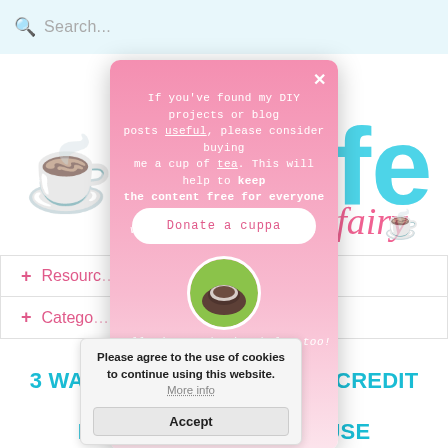[Figure (screenshot): Website header with search bar showing 'Search...' placeholder and a magnifying glass icon on a light blue background]
[Figure (logo): Blog logo with teal/cyan text and cursive pink 'siefairy' text, with illustrated teacup icons]
+ Resources
+ Categories
[Figure (infographic): Pink donation popup modal with text asking users to donate a cup of tea to keep content free, a 'Donate a cuppa' button, a circular tea cup photo, 'Following & sharing helps too!' text, and social media icons for Pinterest, Instagram, Twitter and YouTube]
[Figure (screenshot): Cookie consent banner saying 'Please agree to the use of cookies to continue using this website. More info' with an Accept button]
3 WAYS TO IMPROVE YOUR CREDIT SCORE BEFORE BUYING A HOUSE